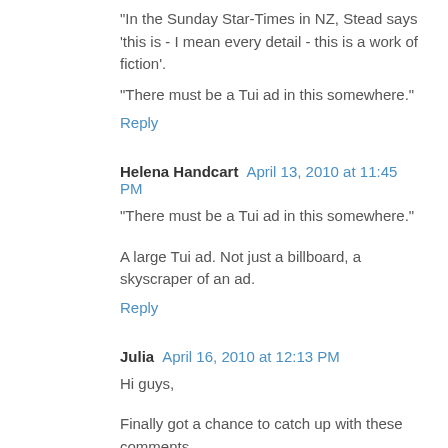"In the Sunday Star-Times in NZ, Stead says 'this is - I mean every detail - this is a work of fiction'.
"There must be a Tui ad in this somewhere."
Reply
Helena Handcart  April 13, 2010 at 11:45 PM
"There must be a Tui ad in this somewhere."
A large Tui ad. Not just a billboard, a skyscraper of an ad.
Reply
Julia  April 16, 2010 at 12:13 PM
Hi guys,
Finally got a chance to catch up with these comments.
Stephen, thanks for your reply, I'm not a regular visitor to